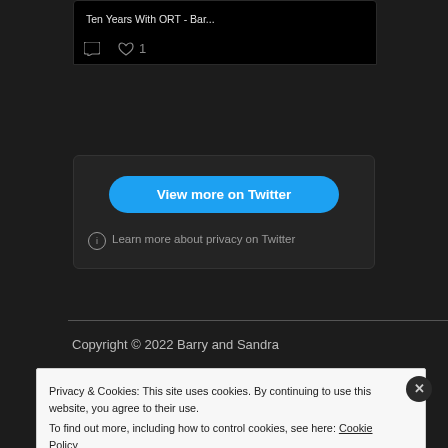[Figure (screenshot): Twitter embedded card showing tweet actions bar with comment icon, heart icon and count '1' on dark background]
[Figure (screenshot): Twitter embedded widget with blue 'View more on Twitter' button and privacy info note on dark background]
Copyright © 2022 Barry and Sandra
Privacy & Cookies: This site uses cookies. By continuing to use this website, you agree to their use. To find out more, including how to control cookies, see here: Cookie Policy
Close and accept